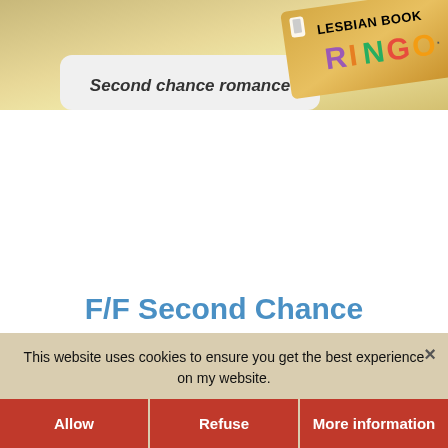[Figure (screenshot): Top banner image showing a card tab labeled 'Second chance romance' and a 'Lesbian Book Bingo' badge/logo on a golden background]
F/F Second Chance Romance Novels (Lesbian Book Bingo #25)
December 20, 2018
I can't believe it's already time for the "second chance romance" post—which will
This website uses cookies to ensure you get the best experience on my website.
Allow   Refuse   More information